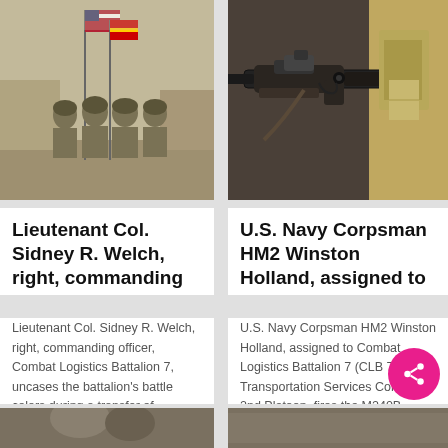[Figure (photo): Soldiers in camouflage uniforms holding American flags and military colors outdoors at a military base]
[Figure (photo): Close-up of M240B machine gun mounted on turret of a military vehicle]
Lieutenant Col. Sidney R. Welch, right, commanding
Lieutenant Col. Sidney R. Welch, right, commanding officer, Combat Logistics Battalion 7, uncases the battalion's battle colors during a transfer of authority ceremony aboard Camp Leatherneck, Afghanistan, Jan.... More
U.S. Navy Corpsman HM2 Winston Holland, assigned to
U.S. Navy Corpsman HM2 Winston Holland, assigned to Combat Logistics Battalion 7 (CLB 7), Transportation Services Company, 2nd Platoon, fires the M240B machine gun from the turret of a mine-resistant, ambush pr... More